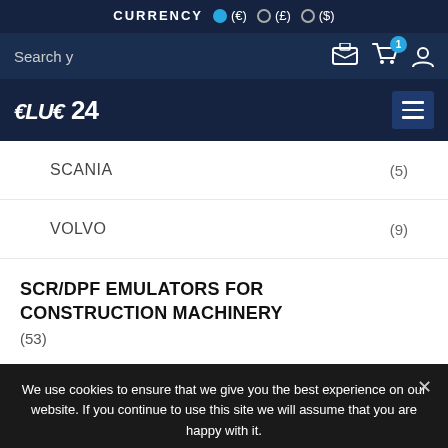CURRENCY (€) (£) ($)
Search y
[Figure (logo): Blue24 logo with stylized text on dark navy background]
SCANIA (5)
VOLVO (9)
SCR/DPF EMULATORS FOR CONSTRUCTION MACHINERY
(53)
We use cookies to ensure that we give you the best experience on our website. If you continue to use this site we will assume that you are happy with it.